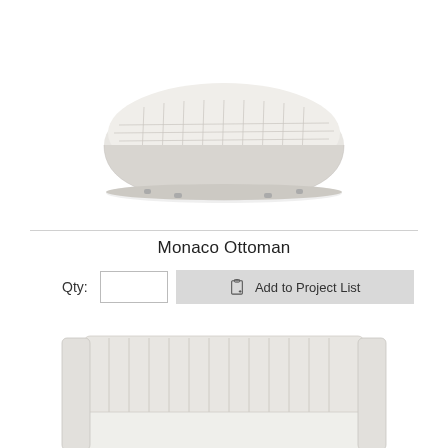[Figure (photo): Monaco Ottoman product photo - oval tufted upholstered ottoman in light grey/white fabric, viewed from a slight angle above]
Monaco Ottoman
Qty:
[Figure (photo): Tufted upholstered sofa in light grey/white fabric with channel-tufted back and arms, viewed from front angle - partially visible at bottom of page]